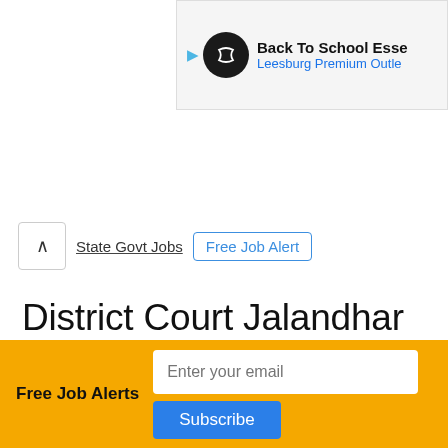[Figure (screenshot): Partial advertisement banner showing 'Back To School Esse...' and 'Leesburg Premium Outle...' with a circular dark logo icon and play button arrow.]
State Govt Jobs  |  Free Job Alert
District Court Jalandhar Recruitment 2022 for 44 Clerk
Free Job Alerts  [email input]  Subscribe